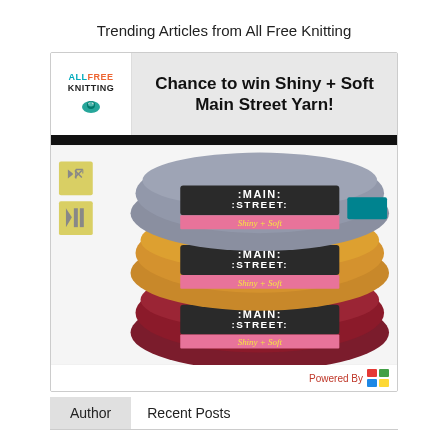Trending Articles from All Free Knitting
[Figure (screenshot): Promotional card for All Free Knitting featuring an advertisement to win Main Street Yarn. Shows three skeins of yarn (grey, mustard/yellow, and dark red/maroon) each with 'Main Street Shiny+Soft' labels stacked on top of each other. Card includes the AllFree Knitting logo in the top left and video control buttons on the left side of the image.]
Powered By
Author
Recent Posts